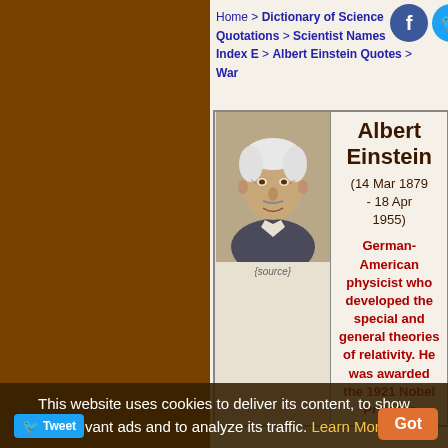Home > Dictionary of Science Quotations > Scientist Names Index E > Albert Einstein Quotes > War
[Figure (photo): Black and white photograph of Albert Einstein as an elderly man, profile/three-quarter view, with white hair.]
{source}
Albert Einstein
(14 Mar 1879 - 18 Apr 1955)
German-American physicist who developed the special and general theories of relativity. He was awarded the 1921 Nobel Prize for
This website uses cookies to deliver its content, to show relevant ads and to analyze its traffic. Learn More